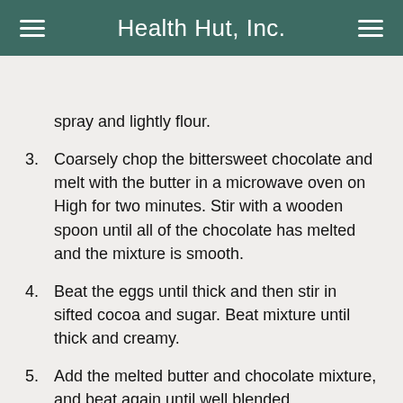Health Hut, Inc.
or foil cut to exact size. Spray with cooking oil spray and lightly flour.
3. Coarsely chop the bittersweet chocolate and melt with the butter in a microwave oven on High for two minutes. Stir with a wooden spoon until all of the chocolate has melted and the mixture is smooth.
4. Beat the eggs until thick and then stir in sifted cocoa and sugar. Beat mixture until thick and creamy.
5. Add the melted butter and chocolate mixture, and beat again until well blended.
6. Pour the mixture into the prepared pan and bake for 40 minutes or until a toothpick inserted in the